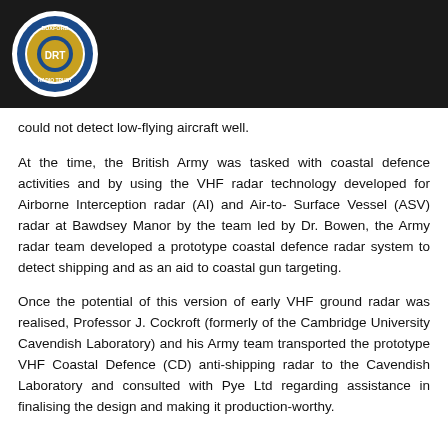Duxford Radio Trust logo
could not detect low-flying aircraft well.
At the time, the British Army was tasked with coastal defence activities and by using the VHF radar technology developed for Airborne Interception radar (AI) and Air-to-Surface Vessel (ASV) radar at Bawdsey Manor by the team led by Dr. Bowen, the Army radar team developed a prototype coastal defence radar system to detect shipping and as an aid to coastal gun targeting.
Once the potential of this version of early VHF ground radar was realised, Professor J. Cockroft (formerly of the Cambridge University Cavendish Laboratory) and his Army team transported the prototype VHF Coastal Defence (CD) anti-shipping radar to the Cavendish Laboratory and consulted with Pye Ltd regarding assistance in finalising the design and making it production-worthy.